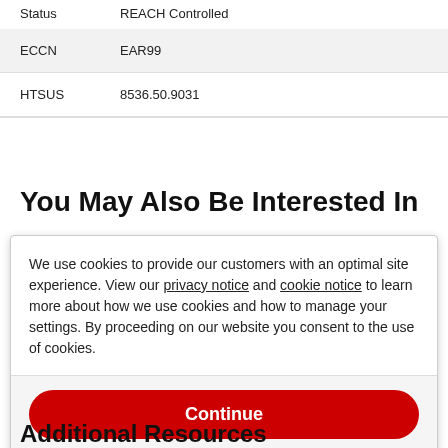| Field | Value |
| --- | --- |
| Status | REACH Controlled |
| ECCN | EAR99 |
| HTSUS | 8536.50.9031 |
You May Also Be Interested In
We use cookies to provide our customers with an optimal site experience. View our privacy notice and cookie notice to learn more about how we use cookies and how to manage your settings. By proceeding on our website you consent to the use of cookies.
Continue
Exit
Privacy Notice
Additional Resources